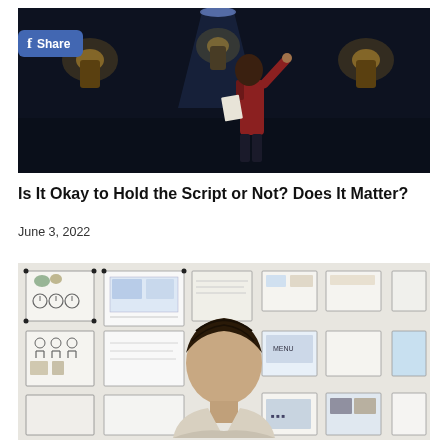[Figure (photo): A performer on a dark stage holding papers and gesturing upward, with warm lantern-style lights in the background.]
Is It Okay to Hold the Script or Not? Does It Matter?
June 3, 2022
[Figure (photo): A person viewed from behind looking at a wall covered with papers, diagrams, and charts pinned up in a grid arrangement.]